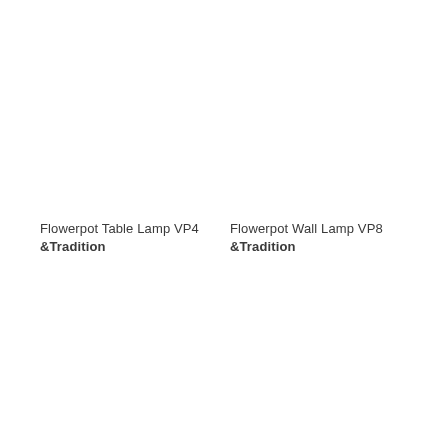Flowerpot Table Lamp VP4
&Tradition
Flowerpot Wall Lamp VP8
&Tradition